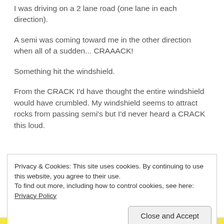I was driving on a 2 lane road (one lane in each direction).
A semi was coming toward me in the other direction when all of a sudden... CRAAACK!
Something hit the windshield.
From the CRACK I'd have thought the entire windshield would have crumbled. My windshield seems to attract rocks from passing semi's but I'd never heard a CRACK this loud.
Privacy & Cookies: This site uses cookies. By continuing to use this website, you agree to their use.
To find out more, including how to control cookies, see here: Privacy Policy